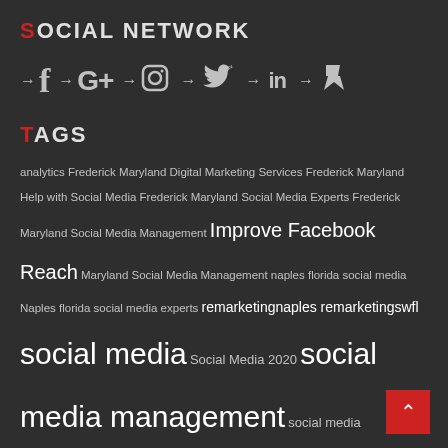SOCIAL NETWORK
[Figure (infographic): Social media icons row: arrow + Facebook f, arrow + Google+, arrow + Instagram, arrow + Twitter bird, arrow + LinkedIn in, arrow + Foursquare]
TAGS
analytics Frederick Maryland Digital Marketing Services Frederick Maryland Help with Social Media Frederick Maryland Social Media Experts Frederick Maryland Social Media Management Improve Facebook Reach Maryland Social Media Management naples florida social media Naples florida social media experts remarketingnaples remarketingswfl social media Social Media 2020 social media management social media